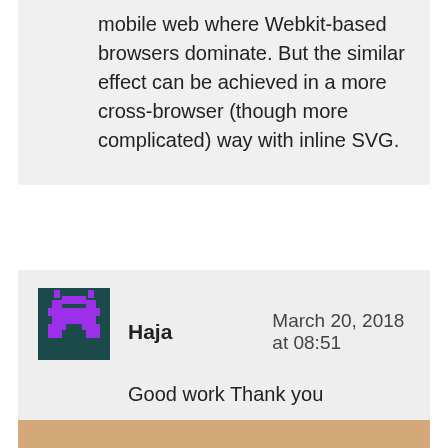mobile web where Webkit-based browsers dominate. But the similar effect can be achieved in a more cross-browser (though more complicated) way with inline SVG.
Haja   March 20, 2018 at 08:51
Good work Thank you